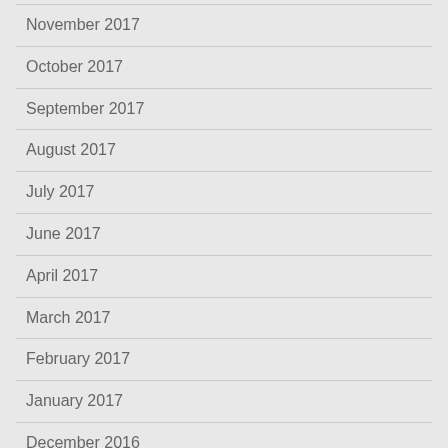November 2017
October 2017
September 2017
August 2017
July 2017
June 2017
April 2017
March 2017
February 2017
January 2017
December 2016
November 2016